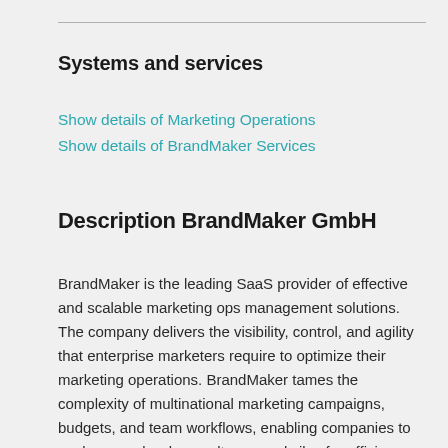Systems and services
Show details of Marketing Operations
Show details of BrandMaker Services
Description BrandMaker GmbH
BrandMaker is the leading SaaS provider of effective and scalable marketing ops management solutions. The company delivers the visibility, control, and agility that enterprise marketers require to optimize their marketing operations. BrandMaker tames the complexity of multinational marketing campaigns, budgets, and team workflows, enabling companies to work across borders, cultures, and silos for efficiency and value. To learn about our platform's mission-driven approach...